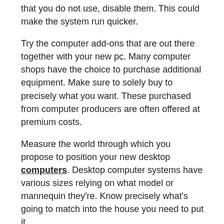that you do not use, disable them. This could make the system run quicker.
Try the computer add-ons that are out there together with your new pc. Many computer shops have the choice to purchase additional equipment. Make sure to solely buy to precisely what you want. These purchased from computer producers are often offered at premium costs.
Measure the world through which you propose to position your new desktop computers. Desktop computer systems have various sizes relying on what model or mannequin they're. Know precisely what's going to match into the house you need to put it.
Try overview websites earlier than selecting one computer. It's overwhelming if you take a look at the alternatives, however by doing a little analysis, taking a look at an editor's decide record or for some opinions